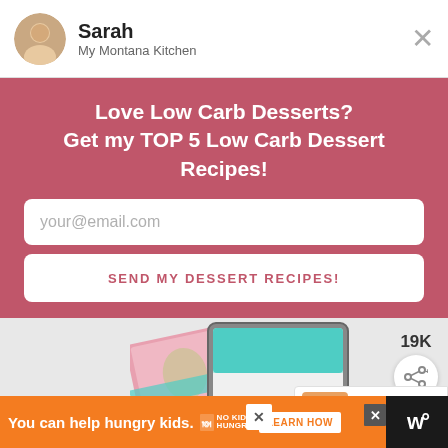Sarah – My Montana Kitchen
Love Low Carb Desserts?
Get my TOP 5 Low Carb Dessert Recipes!
your@email.com
SEND MY DESSERT RECIPES!
[Figure (illustration): Preview of recipe book and tablet showing low carb dessert content, with 19K share count badge]
[Figure (infographic): What's Next panel showing Keto No Bake Cookies thumbnail and text]
Want to do Trim Healthy Mama, but
You can help hungry kids.  NO KID HUNGRY  LEARN HOW